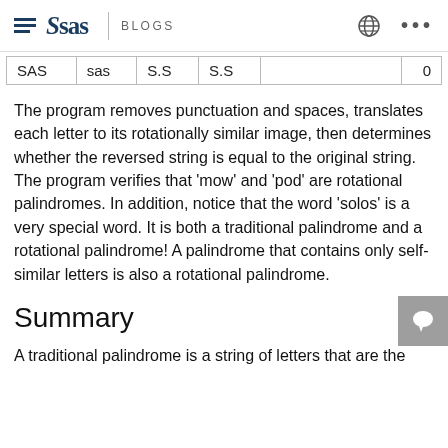SAS BLOGS
| SAS | sas | S.S | S.S |  | 0 |
The program removes punctuation and spaces, translates each letter to its rotationally similar image, then determines whether the reversed string is equal to the original string. The program verifies that 'mow' and 'pod' are rotational palindromes. In addition, notice that the word 'solos' is a very special word. It is both a traditional palindrome and a rotational palindrome! A palindrome that contains only self-similar letters is also a rotational palindrome.
Summary
A traditional palindrome is a string of letters that are the